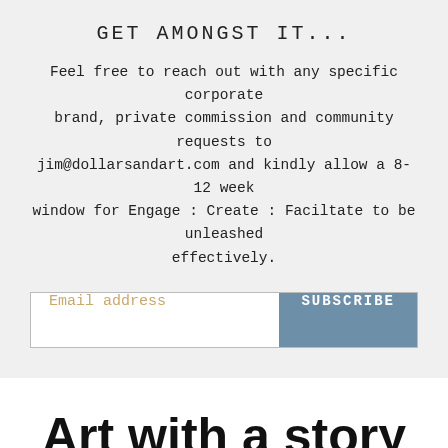GET AMONGST IT...
Feel free to reach out with any specific corporate brand, private commission and community requests to jim@dollarsandart.com and kindly allow a 8-12 week window for Engage : Create : Faciltate to be unleashed effectively.
[Figure (other): Email subscription form with email address input field and SUBSCRIBE button]
Art with a story in vulnerable glory